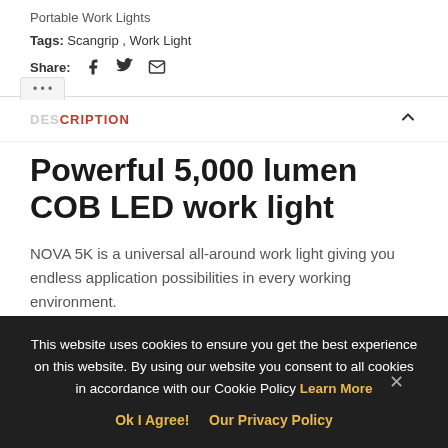Portable Work Lights
Tags: Scangrip , Work Light
Share:
DESCRIPTION
Powerful 5,000 lumen COB LED work light
NOVA 5K is a universal all-around work light giving you endless application possibilities in every working environment.
This website uses cookies to ensure you get the best experience on this website. By using our website you consent to all cookies in accordance with our Cookie Policy Learn More
Ok I Agree!  Our Privacy Policy